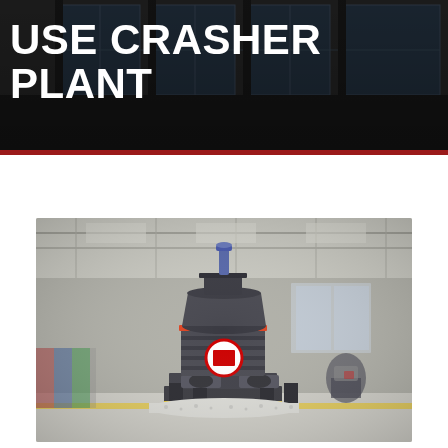[Figure (photo): Dark industrial background showing large windows and building interior, with bold white text overlay reading USE CRASHER PLANT]
USE CRASHER PLANT
[Figure (photo): Industrial cone crusher machine in gray and red, standing on a metal frame with white aggregate material at the base, photographed inside a large warehouse/factory setting with blurred background showing another similar machine]